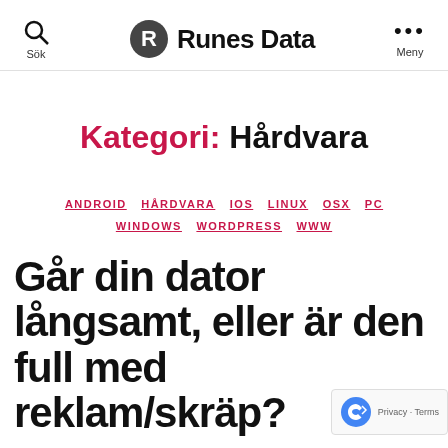Sök | Runes Data | Meny
Kategori: Hårdvara
ANDROID HÅRDVARA IOS LINUX OSX PC WINDOWS WORDPRESS WWW
Går din dator långsamt, eller är den full med reklam/skräp?